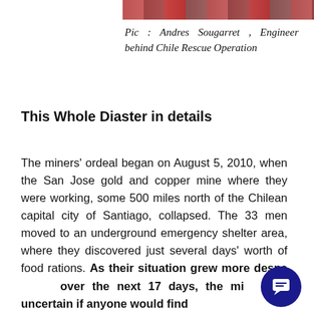[Figure (photo): Partial photo strip at top of page showing people, related to Chile Rescue Operation]
Pic : Andres Sougarret , Engineer behind Chile Rescue Operation
This Whole Diaster in details
The miners' ordeal began on August 5, 2010, when the San Jose gold and copper mine where they were working, some 500 miles north of the Chilean capital city of Santiago, collapsed. The 33 men moved to an underground emergency shelter area, where they discovered just several days' worth of food rations. As their situation grew more desperate over the next 17 days, the miners uncertain if anyone would find